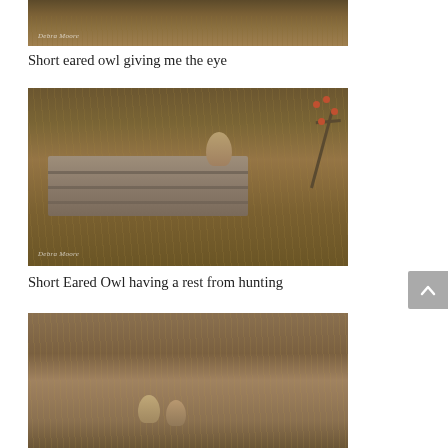[Figure (photo): Partial view of a short eared owl wildlife photograph, showing dry grass field with watermark 'Debra Moore']
Short eared owl giving me the eye
[Figure (photo): Short Eared Owl perched on a dry stone wall with a wild rose branch bearing red berries in the background, surrounded by dry grass. Watermark 'Debra Moore' visible.]
Short Eared Owl having a rest from hunting
[Figure (photo): Partial view of two short eared owls in a grassy field, partially cut off at bottom of page]